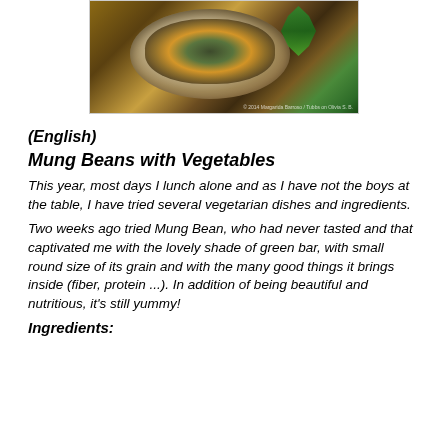[Figure (photo): A bowl of mung beans with vegetables garnished with fresh mint leaves, photographed from above on a wooden surface]
(English)
Mung Beans with Vegetables
This year, most days I lunch alone and as I have not the boys at the table, I have tried several vegetarian dishes and ingredients.
Two weeks ago tried Mung Bean, who had never tasted and that captivated me with the lovely shade of green bar, with small round size of its grain and with the many good things it brings inside (fiber, protein ...). In addition of being beautiful and nutritious, it's still yummy!
Ingredients: